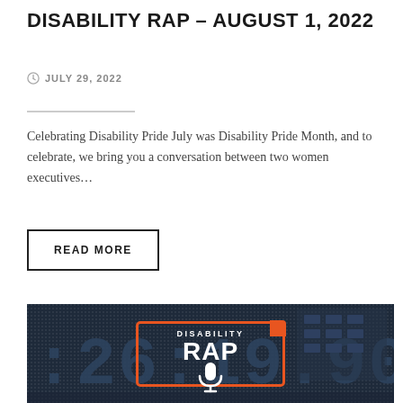DISABILITY RAP – AUGUST 1, 2022
JULY 29, 2022
Celebrating Disability Pride July was Disability Pride Month, and to celebrate, we bring you a conversation between two women executives...
READ MORE
[Figure (photo): Dark navy blue background with digital clock display showing '26:19 90' and the Disability RAP podcast logo — an orange/red rectangular border with 'DISABILITY RAP' text and a microphone icon]